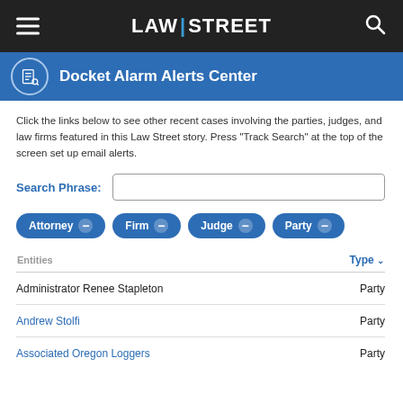LAW|STREET
Docket Alarm Alerts Center
Click the links below to see other recent cases involving the parties, judges, and law firms featured in this Law Street story. Press "Track Search" at the top of the screen set up email alerts.
Search Phrase:
| Entities | Type |
| --- | --- |
| Administrator Renee Stapleton | Party |
| Andrew Stolfi | Party |
| Associated Oregon Loggers | Party |